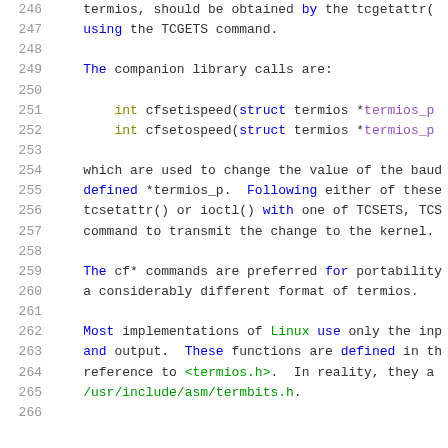246   termios, should be obtained by the tcgetattr(
247   using the TCGETS command.
248
249   The companion library calls are:
250
251         int cfsetispeed(struct termios *termios_p
252         int cfsetospeed(struct termios *termios_p
253
254   which are used to change the value of the baud
255   defined *termios_p.  Following either of these
256   tcsetattr() or ioctl() with one of TCSETS, TCS
257   command to transmit the change to the kernel.
258
259   The cf* commands are preferred for portability
260   a considerably different format of termios.
261
262   Most implementations of Linux use only the inp
263   and output.  These functions are defined in th
264   reference to <termios.h>.  In reality, they a
265   /usr/include/asm/termbits.h.
266